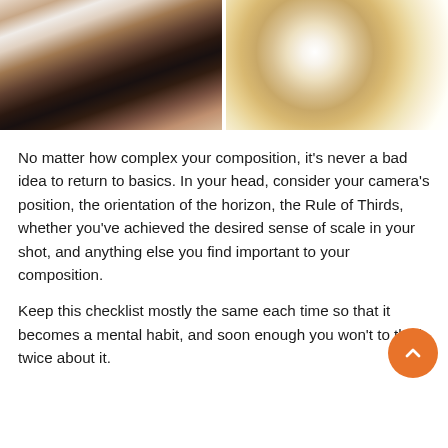[Figure (photo): Two photos side by side: left shows a person's torso and arms in athletic wear, right shows a bokeh/sparkle background with warm golden tones]
No matter how complex your composition, it's never a bad idea to return to basics. In your head, consider your camera's position, the orientation of the horizon, the Rule of Thirds, whether you've achieved the desired sense of scale in your shot, and anything else you find important to your composition.
Keep this checklist mostly the same each time so that it becomes a mental habit, and soon enough you won't to think twice about it.